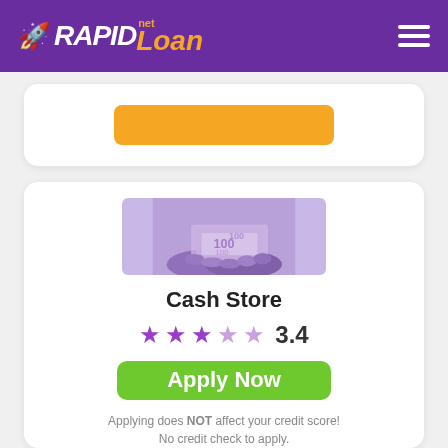RAPIDLoan.net
[Figure (screenshot): Partial view of a card with an orange button at the top]
[Figure (photo): Hands holding cash/banknotes with a purple tint overlay]
Cash Store
3.4 stars rating
Apply Now
Applying does NOT affect your credit score! No credit check to apply.